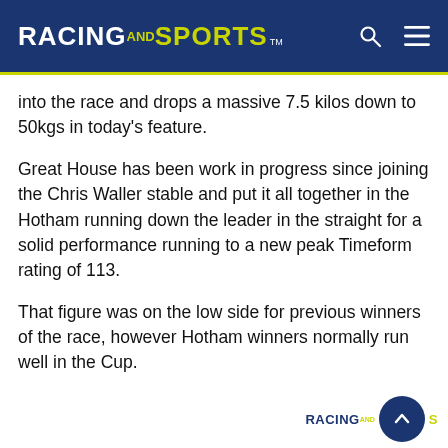RACING AND SPORTS™
into the race and drops a massive 7.5 kilos down to 50kgs in today's feature.
Great House has been work in progress since joining the Chris Waller stable and put it all together in the Hotham running down the leader in the straight for a solid performance running to a new peak Timeform rating of 113.
That figure was on the low side for previous winners of the race, however Hotham winners normally run well in the Cup.
Enjoy the Cup.
RACING AND SPORTS